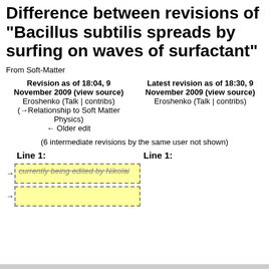Difference between revisions of "Bacillus subtilis spreads by surfing on waves of surfactant"
From Soft-Matter
Revision as of 18:04, 9 November 2009 (view source)
Eroshenko (Talk | contribs)
(→Relationship to Soft Matter Physics)
← Older edit
Latest revision as of 18:30, 9 November 2009 (view source)
Eroshenko (Talk | contribs)
(6 intermediate revisions by the same user not shown)
Line 1:
Line 1:
currently being edited by Nikolai